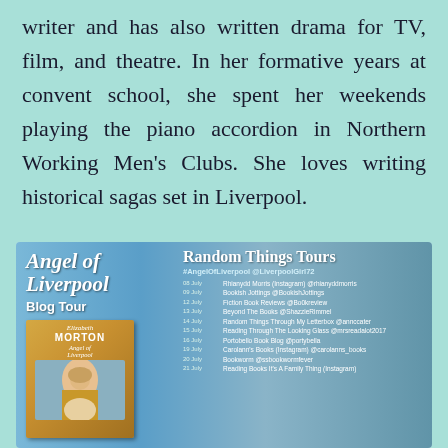writer and has also written drama for TV, film, and theatre. In her formative years at convent school, she spent her weekends playing the piano accordion in Northern Working Men's Clubs. She loves writing historical sagas set in Liverpool.
[Figure (infographic): Angel of Liverpool Blog Tour banner by Random Things Tours featuring book cover of 'Angel of Liverpool' by Elizabeth Morton, hashtags #AngelOfLiverpool @LiverpoolGirl72, and a schedule of blog tour dates from 08 July to 21 July listing various book bloggers and their social media handles.]